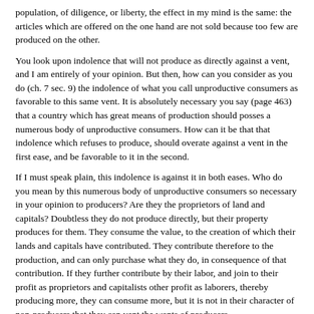population, of diligence, or liberty, the effect in my mind is the same: the articles which are offered on the one hand are not sold because too few are produced on the other.
You look upon indolence that will not produce as directly against a vent, and I am entirely of your opinion. But then, how can you consider as you do (ch. 7 sec. 9) the indolence of what you call unproductive consumers as favorable to this same vent. It is absolutely necessary you say (page 463) that a country which has great means of production should posses a numerous body of unproductive consumers. How can it be that that indolence which refuses to produce, should overate against a vent in the first ease, and be favorable to it in the second.
If I must speak plain, this indolence is against it in both eases. Who do you mean by this numerous body of unproductive consumers so necessary in your opinion to producers? Are they the proprietors of land and capitals? Doubtless they do not produce directly, but their property produces for them. They consume the value, to the creation of which their lands and capitals have contributed. They contribute therefore to the production, and can only purchase what they do, in consequence of that contribution. If they further contribute by their labor, and join to their profit as proprietors and capitalists other profit as laborers, thereby producing more, they can consume more, but it is not in their character of non-producers that they can vent the wants of producers.